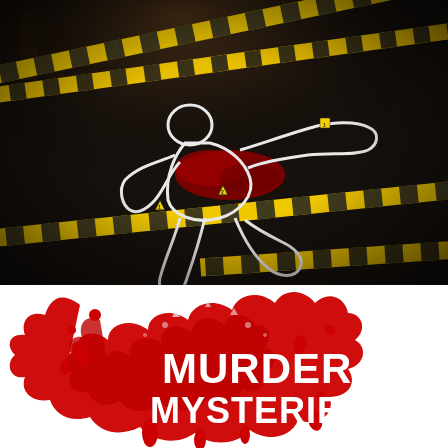[Figure (photo): Crime scene photo showing a chalk outline of a body on dark asphalt pavement, with yellow and black crime scene tape across the image diagonally, red blood stain visible inside the outline, and two yellow evidence markers numbered 1 and 2.]
[Figure (logo): Murder Mysteries logo: bold white text reading MURDER MYSTERIES on a red blood splatter graphic background with paper-cut style layered red shapes.]